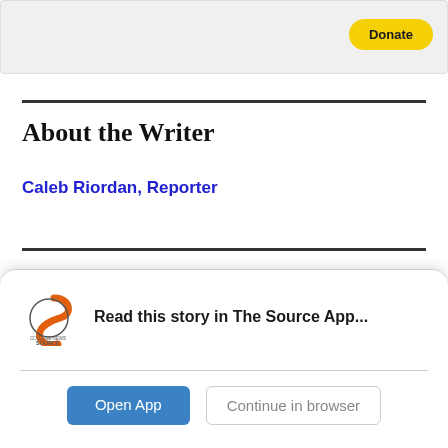[Figure (other): Gray banner with yellow Donate button in top right corner]
About the Writer
Caleb Riordan, Reporter
[Figure (infographic): College News Source app banner with logo, text 'Read this story in The Source App...', Open App button, and Continue in browser button]